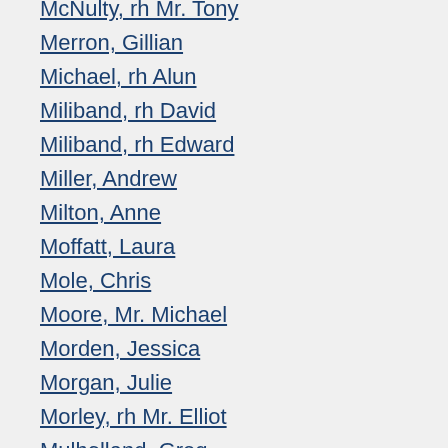McNulty, rh Mr. Tony
Merron, Gillian
Michael, rh Alun
Miliband, rh David
Miliband, rh Edward
Miller, Andrew
Milton, Anne
Moffatt, Laura
Mole, Chris
Moore, Mr. Michael
Morden, Jessica
Morgan, Julie
Morley, rh Mr. Elliot
Mulholland, Greg
Munn, Meg
Murphy, rh Mr. Jim
Murphy, rh Mr. Paul